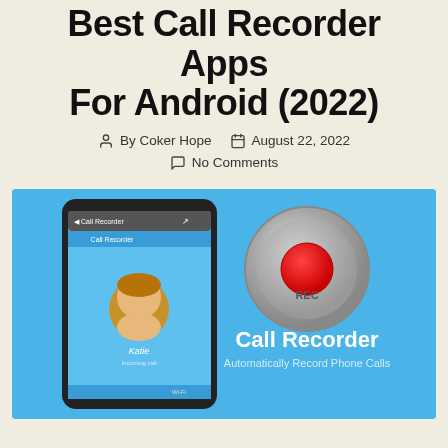Best Call Recorder Apps For Android (2022)
By Coker Hope  August 22, 2022  No Comments
[Figure (screenshot): Banner image showing a smartphone with Call Recorder app open on left (blue background, contact named Katie), and a metallic record button with red center labeled REC on right, with text 'Call Recorder' and 'Automatically Record Phone Calls']